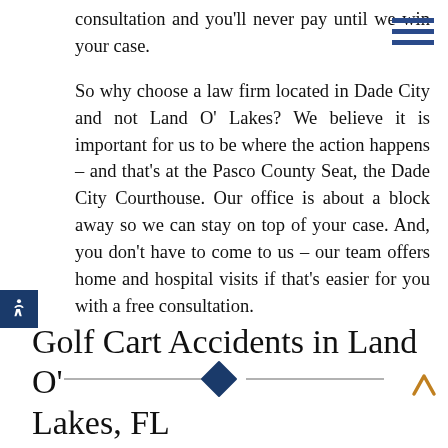consultation and you'll never pay until we win your case.
So why choose a law firm located in Dade City and not Land O' Lakes? We believe it is important for us to be where the action happens – and that's at the Pasco County Seat, the Dade City Courthouse. Our office is about a block away so we can stay on top of your case. And, you don't have to come to us – our team offers home and hospital visits if that's easier for you with a free consultation.
[Figure (other): Decorative horizontal divider with a dark blue diamond shape in the center]
Golf Cart Accidents in Land O' Lakes, FL